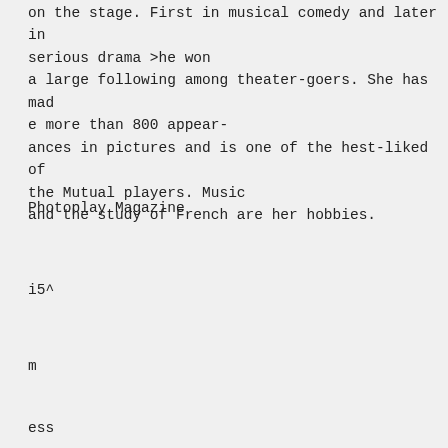on the stage. First in musical comedy and later in serious drama >he won
a large following among theater-goers. She has made more than 800 appear-
ances in pictures and is one of the hest-liked of the Mutual players. Music
and the study of French are her hobbies.
Photoplay Magazine
i5^
m
ess